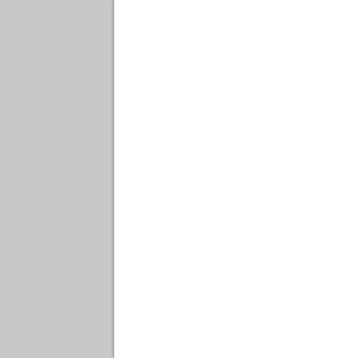From the state of Arizona Are they liberal now silly conserv
http://w cor-pub-and-update/
This link shows that Wolfma is one of the more ignoran human